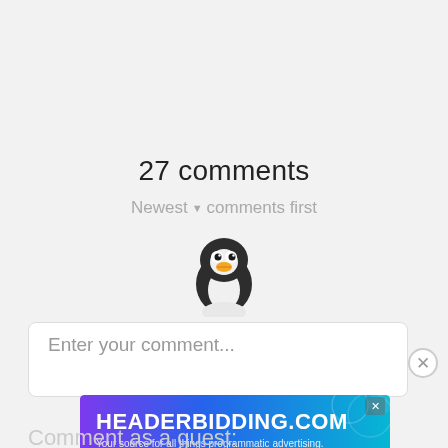27 comments
Newest ▼  comments first
[Figure (illustration): Penguin emoji/avatar icon — black and white penguin with orange beak, round eyes]
Enter your comment...
[Figure (screenshot): HEADERBIDDING.COM advertisement banner — blue/teal/purple gradient background, white bold text 'HEADERBIDDING.COM', subtitle 'Your source for all things programmatic advertising.']
Comment as a guest: